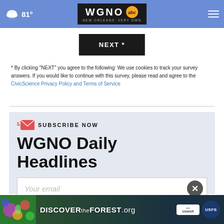81° WGNO ABC New Orleans' Very Own
[Figure (screenshot): NEXT * button - black rectangle with white bold text]
* By clicking "NEXT" you agree to the following: We use cookies to track your survey answers. If you would like to continue with this survey, please read and agree to the CivicScience Privacy Policy and Terms of Service
SUBSCRIBE NOW
WGNO Daily Headlines
Your email
[Figure (infographic): DISCOVERtheFOREST.org ad banner with Ad Council and US Forest Service logos]